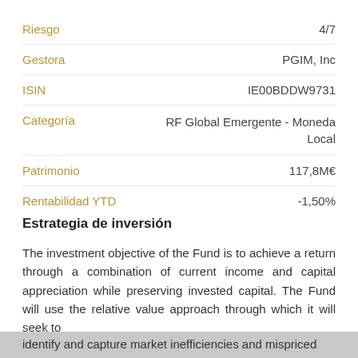| Campo | Valor |
| --- | --- |
| Riesgo | 4/7 |
| Gestora | PGIM, Inc |
| ISIN | IE00BDDW9731 |
| Categoría | RF Global Emergente - Moneda Local |
| Patrimonio | 117,8M€ |
| Rentabilidad YTD | -1,50% |
Estrategia de inversión
The investment objective of the Fund is to achieve a return through a combination of current income and capital appreciation while preserving invested capital. The Fund will use the relative value approach through which it will seek to identify and capture market inefficiencies and mispriced